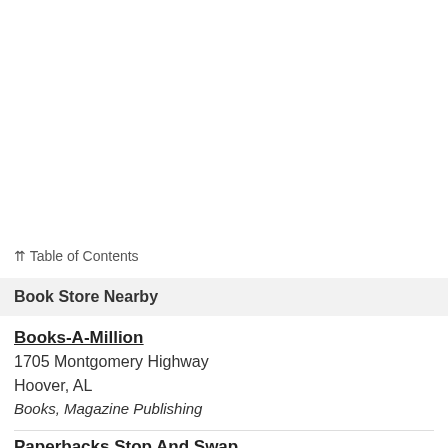⇈ Table of Contents
Book Store Nearby
Books-A-Million
1705 Montgomery Highway
Hoover, AL
Books, Magazine Publishing
Paperbacks Stop And Swap